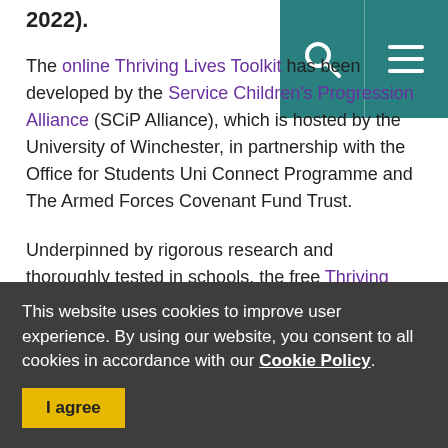2022).
The online Thriving Lives Toolkit has been developed by the Service Children's Progression Alliance (SCiP Alliance), which is hosted by the University of Winchester, in partnership with the Office for Students Uni Connect Programme and The Armed Forces Covenant Fund Trust.
Underpinned by rigorous research and thoroughly tested in schools, the free Thriving Lives Toolkit - originally
[Figure (screenshot): Teal navigation bar with search icon and hamburger menu icon]
This website uses cookies to improve user experience. By using our website, you consent to all cookies in accordance with our Cookie Policy.
I agree